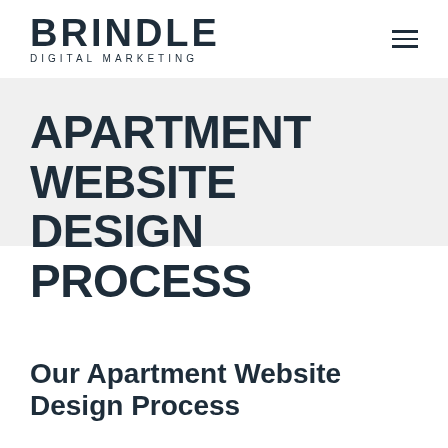BRINDLE DIGITAL MARKETING
APARTMENT WEBSITE DESIGN PROCESS
Our Apartment Website Design Process